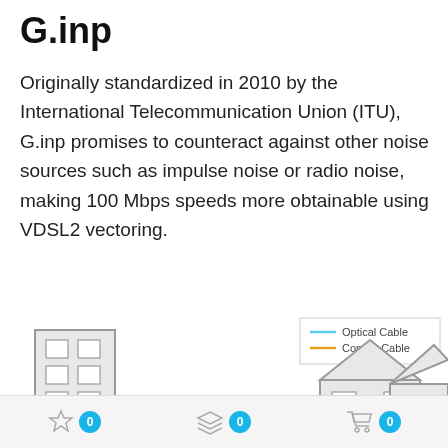G.inp
Originally standardized in 2010 by the International Telecommunication Union (ITU), G.inp promises to counteract against other noise sources such as impulse noise or radio noise, making 100 Mbps speeds more obtainable using VDSL2 vectoring.
[Figure (infographic): Network diagram showing a building connected via optical cable (blue) to a server/DSLAM and street cabinet, then via copper cable (yellow) to two houses. Legend shows Optical Cable (blue) and Copper Cable (yellow).]
0  0  0